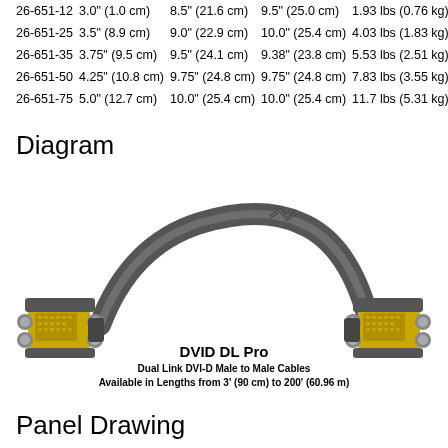| 26-651-12 | 3.0" (1.0 cm) | 8.5" (21.6 cm) | 9.5" (25.0 cm) | 1.93 lbs (0.76 kg) |
| 26-651-25 | 3.5" (8.9 cm) | 9.0" (22.9 cm) | 10.0" (25.4 cm) | 4.03 lbs (1.83 kg) |
| 26-651-35 | 3.75" (9.5 cm) | 9.5" (24.1 cm) | 9.38" (23.8 cm) | 5.53 lbs (2.51 kg) |
| 26-651-50 | 4.25" (10.8 cm) | 9.75" (24.8 cm) | 9.75" (24.8 cm) | 7.83 lbs (3.55 kg) |
| 26-651-75 | 5.0" (12.7 cm) | 10.0" (25.4 cm) | 10.0" (25.4 cm) | 11.7 lbs (5.31 kg) |
Diagram
[Figure (engineering-diagram): DVID DL Pro cable diagram showing a dark gray dual-link DVI-D cable with gold-plated male connectors on both ends, forming an arc shape. Center text reads: DVID DL Pro, Dual Link DVI-D Male to Male Cables, Available in Lengths from 3' (90 cm) to 200' (60.96 m)]
Panel Drawing